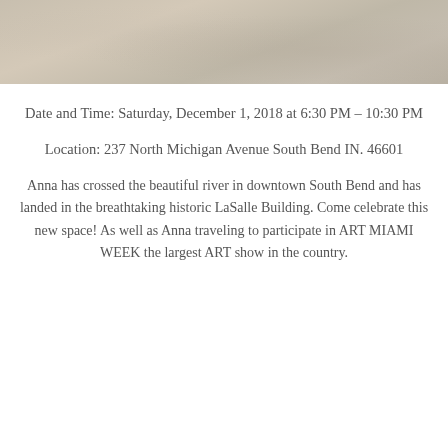[Figure (photo): A photograph showing a sandy or concrete surface with a muted, beige-gray tone, partially cropped at the top of the page.]
Date and Time: Saturday, December 1, 2018 at 6:30 PM – 10:30 PM
Location: 237 North Michigan Avenue South Bend IN. 46601
Anna has crossed the beautiful river in downtown South Bend and has landed in the breathtaking historic LaSalle Building. Come celebrate this new space! As well as Anna traveling to participate in ART MIAMI WEEK the largest ART show in the country.